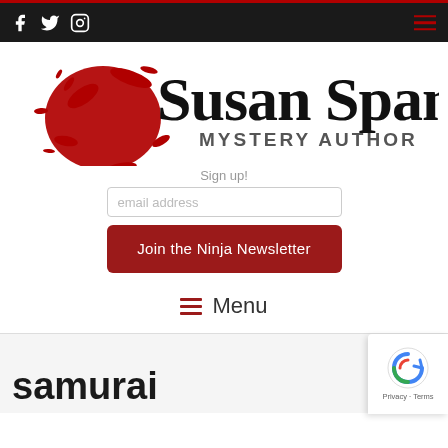Navigation bar with Facebook, Twitter, Instagram icons and hamburger menu
[Figure (logo): Susan Spann Mystery Author logo with red ink splatter and black script lettering]
Sign up!
email address
Join the Ninja Newsletter
Menu
samurai